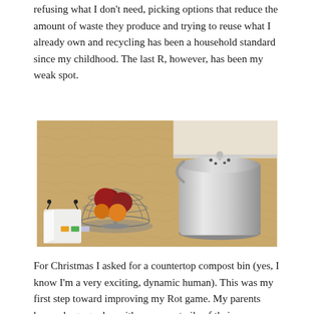refusing what I don't need, picking options that reduce the amount of waste they produce and trying to reuse what I already own and recycling has been a household standard since my childhood. The last R, however, has been my weak spot.
[Figure (photo): A kitchen countertop with a stainless steel compost bin with a perforated lid and a wire handle, a wire fruit basket holding red onions and other fruits, and several small white mesh produce bags with colorful tags spread in the foreground on a granite countertop.]
For Christmas I asked for a countertop compost bin (yes, I know I'm a very exciting, dynamic human). This was my first step toward improving my Rot game. My parents have a huge garden with a compost pile of their own.